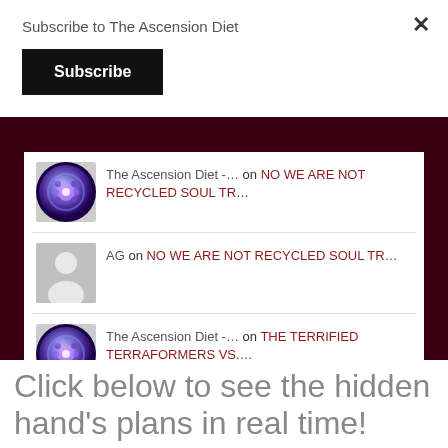Subscribe to The Ascension Diet
Subscribe
×
The Ascension Diet -… on NO WE ARE NOT RECYCLED SOUL TR…
AG on NO WE ARE NOT RECYCLED SOUL TR…
The Ascension Diet -… on THE TERRIFIED TERRAFORMERS VS….
Click below to see the hidden hand's plans in real time!